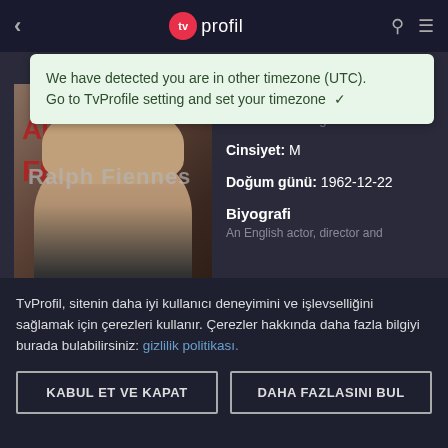tv profil
We have detected you are in other timezone (UTC). Go to TvProfile setting and set your timezone ✓
[Figure (photo): Photo of Ralph Fiennes at an AFI event with Audi branding visible in background]
Ülke: United Kingdom
Cinsiyet: M
Doğum günü: 1962-12-22
Biyografi
An English actor, director and
TvProfil, sitenin daha iyi kullanıcı deneyimini ve işlevselliğini sağlamak için çerezleri kullanır. Çerezler hakkında daha fazla bilgiyi burada bulabilirsiniz: gizlilik politikası.
KABUL ET VE KAPAT
DAHA FAZLASINI BUL